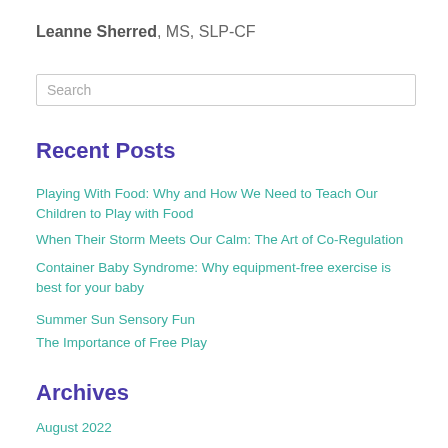Leanne Sherred, MS, SLP-CF
Search
Recent Posts
Playing With Food: Why and How We Need to Teach Our Children to Play with Food
When Their Storm Meets Our Calm: The Art of Co-Regulation
Container Baby Syndrome: Why equipment-free exercise is best for your baby
Summer Sun Sensory Fun
The Importance of Free Play
Archives
August 2022